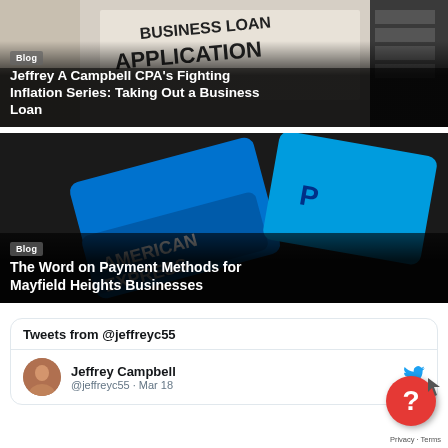[Figure (photo): Small Business Loan application form with a calculator in the background]
Blog
Jeffrey A Campbell CPA's Fighting Inflation Series: Taking Out a Business Loan
[Figure (photo): American Express and PayPal credit cards close-up]
Blog
The Word on Payment Methods for Mayfield Heights Businesses
Tweets from @jeffreyc55
Jeffrey Campbell
@jeffreyc55 · Mar 18